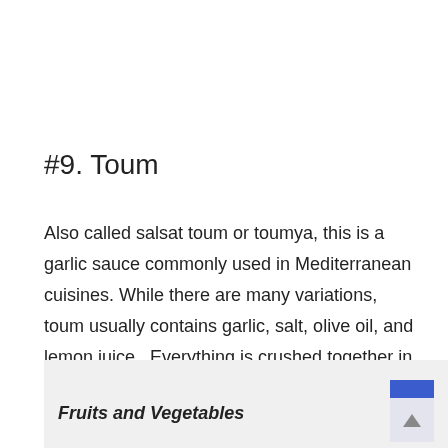#9. Toum
Also called salsat toum or toumya, this is a garlic sauce commonly used in Mediterranean cuisines. While there are many variations, toum usually contains garlic, salt, olive oil, and lemon juice.  Everything is crushed together in a mortar and made into a paste or sauce.
Fruits and Vegetables